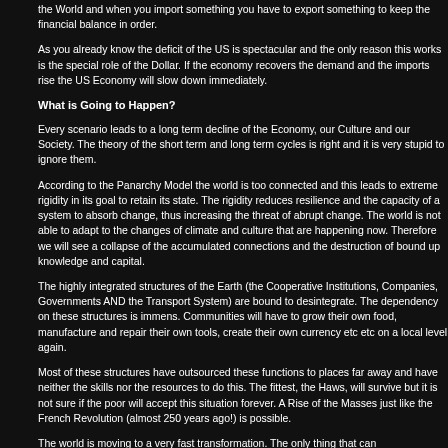the World and when you import something you have to export something to keep the financial balance in order.
As you already know the deficit of the US is spectacular and the only reason this works is the special role of the Dollar. If the economy recovers the demand and the imports rise the US Economy will slow down immediately.
What is Going to Happen?
Every scenario leads to a long term decline of the Economy, our Culture and our Society. The theory of the short term and long term cycles is right and it is very stupid to ignore them.
According to the Panarchy Model the world is too connected and this leads to extreme rigidity in its goal to retain its state. The rigidity reduces resilience and the capacity of a system to absorb change, thus increasing the threat of abrupt change. The world is not able to adapt to the changes of climate and culture that are happening now. Therefore we will see a collapse of the accumulated connections and the destruction of bound up knowledge and capital.
The highly integrated structures of the Earth (the Cooperative Institutions, Companies, Governments AND the Transport System) are bound to desintegrate. The dependency on these structures is immens. Communities will have to grow their own food, manufacture and repair their own tools, create their own currency etc etc on a local level again.
Most of these structures have outsourced these functions to places far away and have neither the skills nor the resources to do this. The fittest, the Haws, will survive but it is not sure if the poor will accept this situation forever. A Rise of the Masses just like the French Revolution (almost 250 years ago!) is possible.
The world is moving to a very fast transformation. The only thing that can